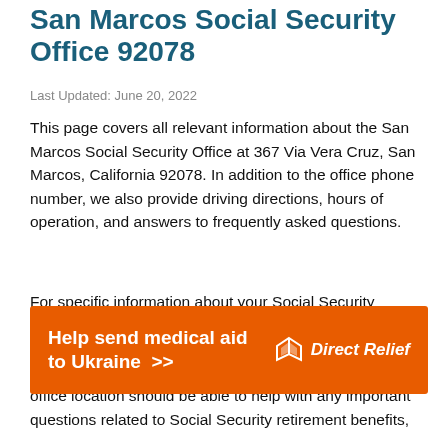San Marcos Social Security Office 92078
Last Updated: June 20, 2022
This page covers all relevant information about the San Marcos Social Security Office at 367 Via Vera Cruz, San Marcos, California 92078. In addition to the office phone number, we also provide driving directions, hours of operation, and answers to frequently asked questions.
For specific information about your Social Security benefits or to schedule an appointment, call the San Marcos Social Security Office using the phone number listed below. The SSA representatives at the San Marcos office location should be able to help with any important questions related to Social Security retirement benefits,
[Figure (infographic): Orange advertisement banner reading 'Help send medical aid to Ukraine >>' with Direct Relief logo on the right]